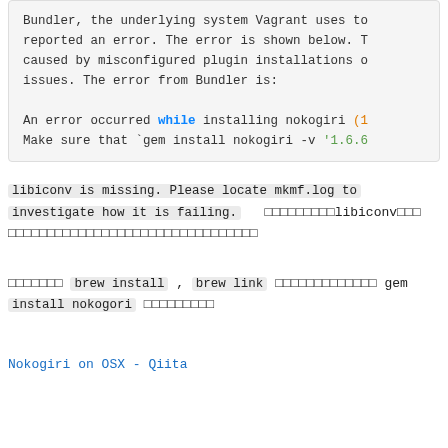Bundler, the underlying system Vagrant uses to reported an error. The error is shown below. T caused by misconfigured plugin installations o issues. The error from Bundler is:

An error occurred while installing nokogiri (1 Make sure that `gem install nokogiri -v '1.6.6
libiconv is missing. Please locate mkmf.log to investigate how it is failing. xxxxxxxxlibiconvxxx xxxxxxxxxxxxxxxxxxxxxxxxxxxxxxxxx
xxxxxxx brew install , brew link xxxxxxxxxxxxx gem install nokogori xxxxxxxxx
Nokogiri on OSX - Qiita